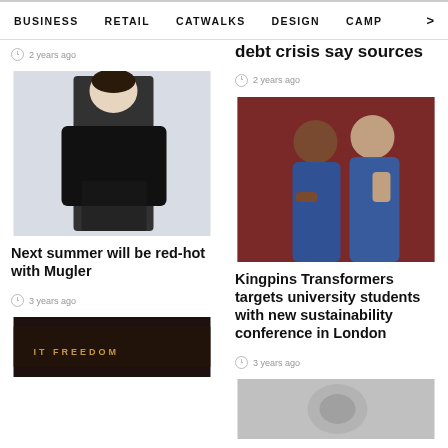BUSINESS   RETAIL   CATWALKS   DESIGN   CAMP >
2 years ago
debt crisis say sources
2 years ago
[Figure (photo): Female model in black blazer and sheer bodysuit]
Next summer will be red-hot with Mugler
3 years ago
[Figure (photo): Two people posing together, one in denim jacket]
Kingpins Transformers targets university students with new sustainability conference in London
3 years ago
[Figure (photo): Dark background with IT FREEDOM text in gold]
[Figure (photo): Light grey background partial image]